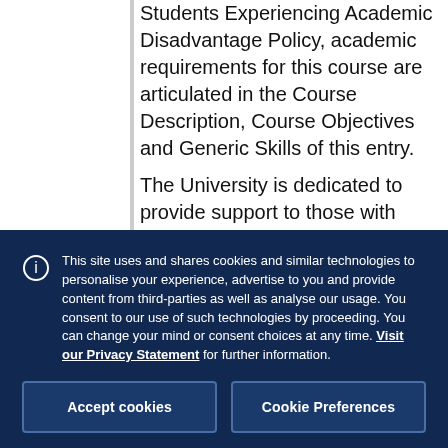Students Experiencing Academic Disadvantage Policy, academic requirements for this course are articulated in the Course Description, Course Objectives and Generic Skills of this entry.
The University is dedicated to provide support to those with special requirements. Further details on the disability support scheme can be found at the Disability Liaison Unit websi...
This site uses and shares cookies and similar technologies to personalise your experience, advertise to you and provide content from third-parties as well as analyse our usage. You consent to our use of such technologies by proceeding. You can change your mind or consent choices at any time. Visit our Privacy Statement for further information.